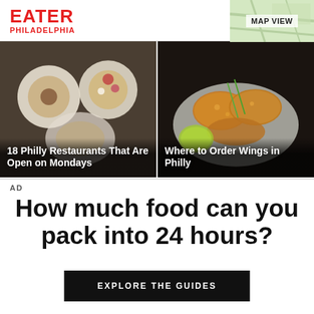EATER PHILADELPHIA
MAP VIEW
[Figure (photo): Overhead shot of restaurant dishes on white plates with colorful salads]
18 Philly Restaurants That Are Open on Mondays
[Figure (photo): Close-up of fried chicken wings in a bowl with lime and green onions]
Where to Order Wings in Philly
AD
How much food can you pack into 24 hours?
EXPLORE THE GUIDES